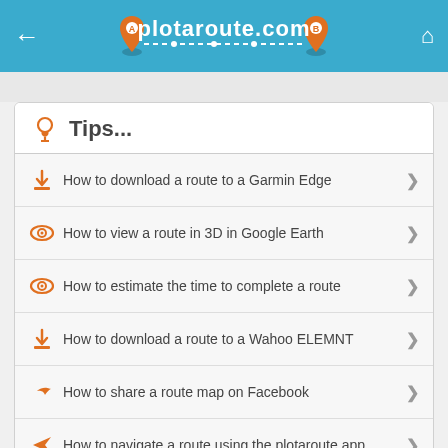plotaroute.com
Tips...
How to download a route to a Garmin Edge
How to view a route in 3D in Google Earth
How to estimate the time to complete a route
How to download a route to a Wahoo ELEMNT
How to share a route map on Facebook
How to navigate a route using the plotaroute app
How to show gradients on a route map